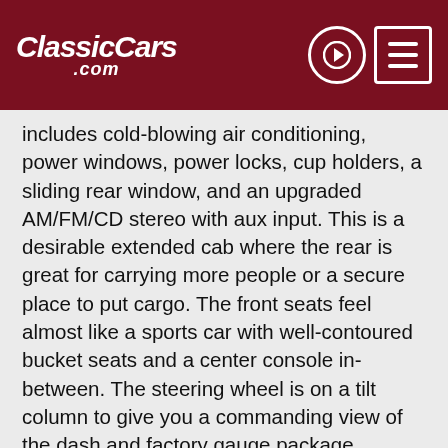ClassicCars.com
includes cold-blowing air conditioning, power windows, power locks, cup holders, a sliding rear window, and an upgraded AM/FM/CD stereo with aux input. This is a desirable extended cab where the rear is great for carrying more people or a secure place to put cargo. The front seats feel almost like a sports car with well-contoured bucket seats and a center console in-between. The steering wheel is on a tilt column to give you a commanding view of the dash and factory gauge package.
The engine bay continues the correct and respected appearance. It's unknown if the odometer represents actual mileage. But this two-owner truck has been treated with the proper respect over the years. So that not only means good care on components, but also big investments like new components and 1998. This 853